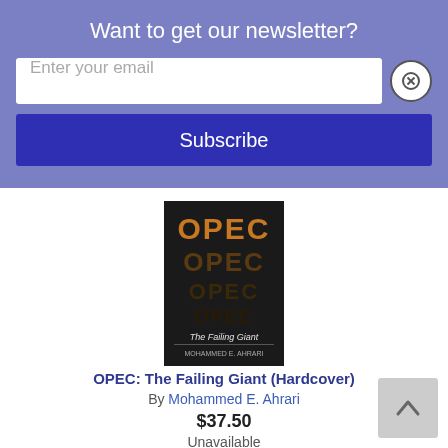Want to get our newsletter?
Enter your email
Subscribe
OPEC: The Failing Giant (Hardcover)
By Mohammed E. Ahrari
$37.50
Unavailable
[Figure (illustration): Book cover for OPEC: The Failing Giant showing the word OPEC repeated four times in orange/brown on dark background with subtitle 'The Failing Giant' and author 'Mohammed E. Ahrari']
[Figure (illustration): Book cover for Shocks, States, and Sustainability - teal/green cover with text 'SHOCKS, STATES, and SUSTAINABILITY: The Origins of Radical Environmental Reforms']